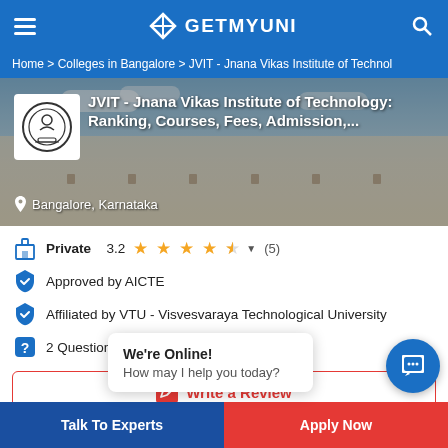GETMYUNI
Home > Colleges in Bangalore > JVIT - Jnana Vikas Institute of Technol
[Figure (photo): JVIT college building exterior with college logo overlay]
JVIT - Jnana Vikas Institute of Technology: Ranking, Courses, Fees, Admission,...
Bangalore, Karnataka
Private 3.2 ★★★★☆ ▼ (5)
Approved by AICTE
Affiliated by VTU - Visvesvaraya Technological University
2 Questions Answered
Write a Review
We're Online!
How may I help you today?
Talk To Experts
Apply Now